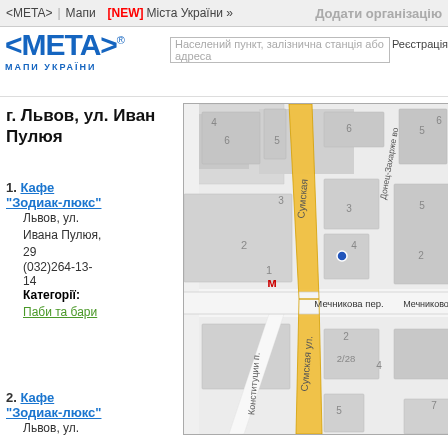<META> | Мапи [NEW] Міста України » Додати організацію
[Figure (logo): META Мапи України logo with blue angular brackets and text]
Населений пункт, залізнична станція або адреса | Реєстрація | Вхід
г. Львов, ул. Иван Пулюя
1. Кафе "Зодиак-люкс"
Львов, ул. Ивана Пулюя, 29
(032)264-13-14
Категорії: Паби та бари
2. Кафе "Зодиак-люкс"
Львов, ул.
[Figure (map): Street map showing Сумская улица (Sumska street) highlighted in yellow/gold, with surrounding streets including Мечникова пер. and Конституции п., building numbers visible (1,2,3,4,5,6), a metro marker in red, and a blue dot marker. Buildings shown in grey blocks on light background.]